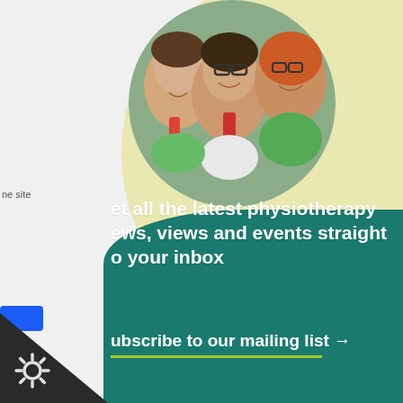ne site
not
bled
[Figure (photo): Circular cropped photo of three smiling women, including one with glasses wearing a lanyard, at what appears to be a professional event or conference]
et all the latest physiotherapy
ews, views and events straight
o your inbox
ubscribe to our mailing list →